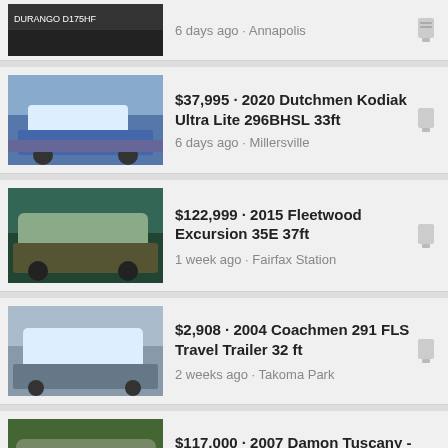6 days ago · Annapolis
$37,995 · 2020 Dutchmen Kodiak Ultra Lite 296BHSL 33ft
6 days ago · Millersville
$122,999 · 2015 Fleetwood Excursion 35E 37ft
1 week ago · Fairfax Station
$2,908 · 2004 Coachmen 291 FLS Travel Trailer 32 ft
2 weeks ago · Takoma Park
$117,000 · 2007 Damon Tuscany - MUST SELL!!!
2 weeks ago · Indian Head
$22,900 · 2013 Forest Water Payback 25V Toy Hauler Completely New -
2 weeks ago · Washington
$13,500 · $13,500 OBO 1985 VW Westfalia camper